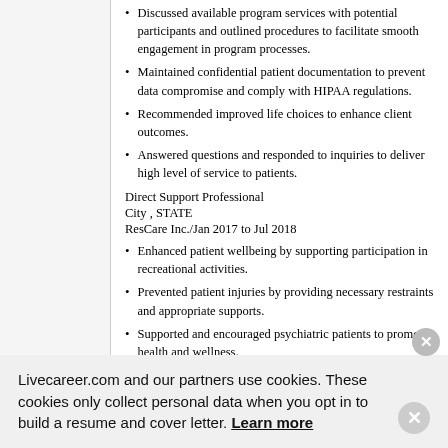Discussed available program services with potential participants and outlined procedures to facilitate smooth engagement in program processes.
Maintained confidential patient documentation to prevent data compromise and comply with HIPAA regulations.
Recommended improved life choices to enhance client outcomes.
Answered questions and responded to inquiries to deliver high level of service to patients.
Direct Support Professional
City , STATE
ResCare Inc./Jan 2017 to Jul 2018
Enhanced patient wellbeing by supporting participation in recreational activities.
Prevented patient injuries by providing necessary restraints and appropriate supports.
Supported and encouraged psychiatric patients to promote health and wellness.
Administered medications, collected specimens or drew blood to assist with diagnostic and treatment
Livecareer.com and our partners use cookies. These cookies only collect personal data when you opt in to build a resume and cover letter. Learn more